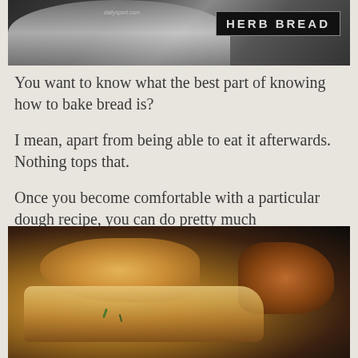[Figure (photo): Photo of herb bread on a plate with dark background, with 'HERB BREAD' text badge in upper right corner and a watermark URL visible]
You want to know what the best part of knowing how to bake bread is?
I mean, apart from being able to eat it afterwards. Nothing tops that.
Once you become comfortable with a particular dough recipe, you can do pretty much ANYTHING you want to do with it.
[Figure (photo): Close-up photo of a torn piece of herb bread showing the soft interior with rosemary, golden-brown crust, on a dark background]